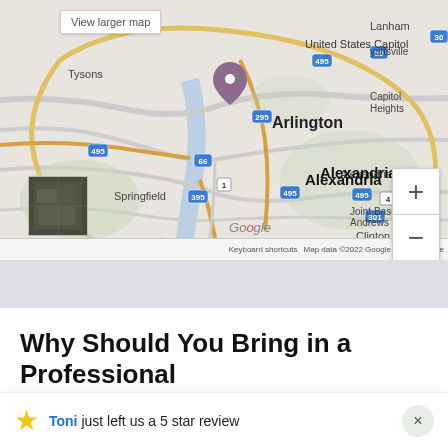[Figure (map): Google Map showing Washington DC metro area including Arlington, Alexandria, Springfield, Capitol Heights, Joint Base Andrews, Clinton, Tysons, Lanham. Shows highways 495, 295, 395, 66, 50, 95, 1, 4, 301. Includes zoom controls and satellite thumbnail. Footer shows 'Keyboard shortcuts', 'Map data ©2022 Google', 'Terms of Use'. Button: 'View larger map'.]
Why Should You Bring in a Professional to Clean Your Home?
Toni just left us a 5 star review
While the biggest reason to bring in a professional cleaning...